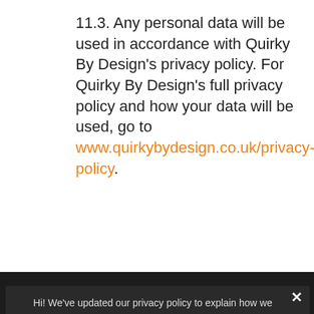11.3. Any personal data will be used in accordance with Quirky By Design's privacy policy. For Quirky By Design's full privacy policy and how your data will be used, go to www.quirkybydesign.co.uk/privacy-policy.
[Figure (screenshot): Cookie consent popup overlay on a dark background. Shows text: 'Hi! We've updated our privacy policy to explain how we process and store your data and use cookies. We use cookies to offer you a better browsing experience, analyze site traffic, personalize content, and serve targeted advertisements. Read about how we use cookies and how you can control them by clicking "Privacy Preferences". If you continue to use this site, you consent to our use of cookies.' With a 'Privacy Preferences' link and an 'I Agree' button. An X close button is in the top right corner.]